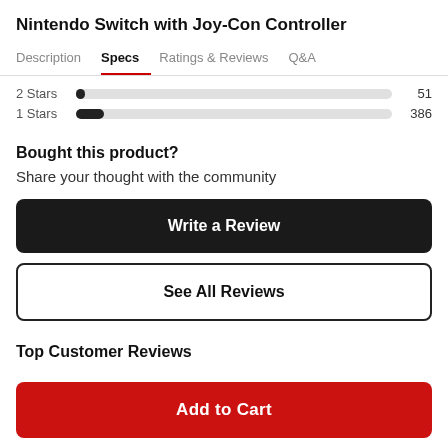Nintendo Switch with Joy-Con Controller
Description  Specs  Ratings & Reviews  Q&A
2 Stars  51
1 Stars  386
Bought this product?
Share your thought with the community
Write a Review
See All Reviews
Top Customer Reviews
Add to Cart